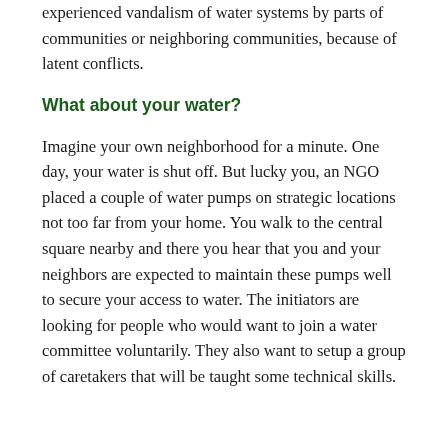experienced vandalism of water systems by parts of communities or neighboring communities, because of latent conflicts.
What about your water?
Imagine your own neighborhood for a minute. One day, your water is shut off. But lucky you, an NGO placed a couple of water pumps on strategic locations not too far from your home. You walk to the central square nearby and there you hear that you and your neighbors are expected to maintain these pumps well to secure your access to water. The initiators are looking for people who would want to join a water committee voluntarily. They also want to setup a group of caretakers that will be taught some technical skills.